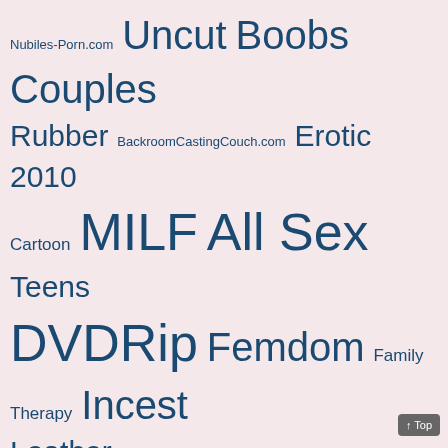[Figure (infographic): Tag cloud / word cloud with adult website category tags in various font sizes, on a light pink background. Tags include: Nubiles-Porn.com, Uncut, Boobs, Couples, Rubber, BackroomCastingCouch.com, Erotic, 2010, Cartoon, MILF, All Sex, Teens, DVDRip, Femdom, Family Therapy, Incest, Leather, WoodmanCastingX.com, submission, Black, Ladyboy, 2022, Jerk off, DAP, Latex, Japanese, Softcore, French, Golden Shower, Public Nudity, Fetish, 3D, MyDirtyHobby.com, Pregnant, shemale, Michael Fly, Marc Dorcel, POV, 2011, Gang Bang, piercing, 360p, Bikini, PornStars, Anissa Kate, Tea Bags, Anime, Veronica Leal, Handjob, Posing, Brazzers.com, SiteRip, VR, German, Casting, hentai, CBT, Older, Angelo Godshack, Pissing, Straight, Blowjob]